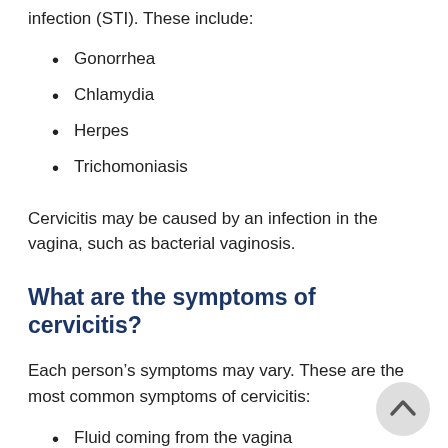infection (STI). These include:
Gonorrhea
Chlamydia
Herpes
Trichomoniasis
Cervicitis may be caused by an infection in the vagina, such as bacterial vaginosis.
What are the symptoms of cervicitis?
Each person’s symptoms may vary. These are the most common symptoms of cervicitis:
Fluid coming from the vagina
Pelvic pain